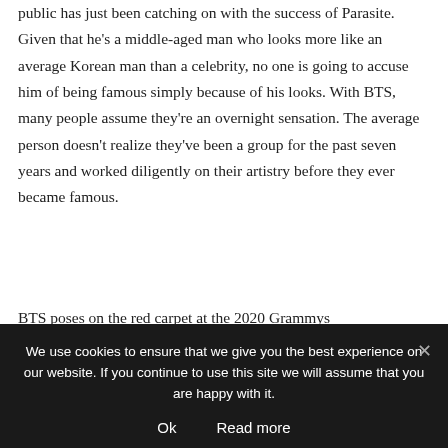public has just been catching on with the success of Parasite. Given that he's a middle-aged man who looks more like an average Korean man than a celebrity, no one is going to accuse him of being famous simply because of his looks. With BTS, many people assume they're an overnight sensation. The average person doesn't realize they've been a group for the past seven years and worked diligently on their artistry before they ever became famous.
BTS poses on the red carpet at the 2020 Grammys
While BTS have won awards from the MTV VMAs,
We use cookies to ensure that we give you the best experience on our website. If you continue to use this site we will assume that you are happy with it.
Ok   Read more